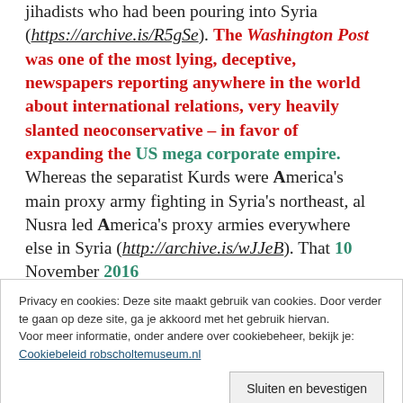jihadists who had been pouring into Syria (https://archive.is/R5gSe). The Washington Post was one of the most lying, deceptive, newspapers reporting anywhere in the world about international relations, very heavily slanted neoconservative – in favor of expanding the US mega corporate empire. Whereas the separatist Kurds were America's main proxy army fighting in Syria's northeast, al Nusra led America's proxy armies everywhere else in Syria (http://archive.is/wJJeB). That 10 November 2016
Privacy en cookies: Deze site maakt gebruik van cookies. Door verder te gaan op deze site, ga je akkoord met het gebruik hiervan.
Voor meer informatie, onder andere over cookiebeheer, bekijk je:
Cookiebeleid robscholtemuseum.nl
Sluiten en bevestigen
gathering threat they posed. That's another lie, because Secretary of State John Kerry already had